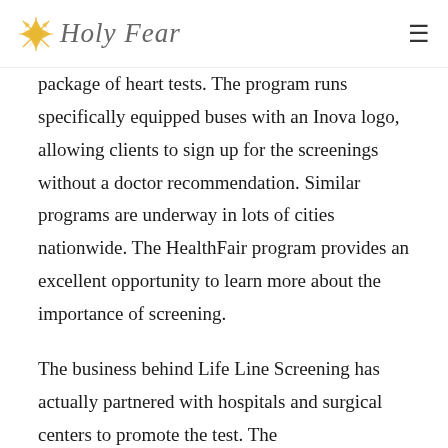Holy Fear
package of heart tests. The program runs specifically equipped buses with an Inova logo, allowing clients to sign up for the screenings without a doctor recommendation. Similar programs are underway in lots of cities nationwide. The HealthFair program provides an excellent opportunity to learn more about the importance of screening.
The business behind Life Line Screening has actually partnered with hospitals and surgical centers to promote the test. The